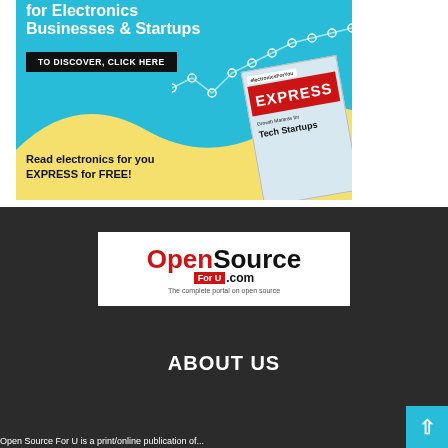[Figure (advertisement): Electronics For You EXPRESS magazine advertisement with teal and yellow background, showing the magazine cover and text 'for Electronics Businesses & Startups', 'TO DISCOVER, CLICK HERE', 'Read electronics for you EXPRESS for FREE!']
[Figure (logo): OpenSource For U .com logo — white box with red 'Open' and black 'Source', red badge 'For U', tagline 'The complete portal on open source']
ABOUT US